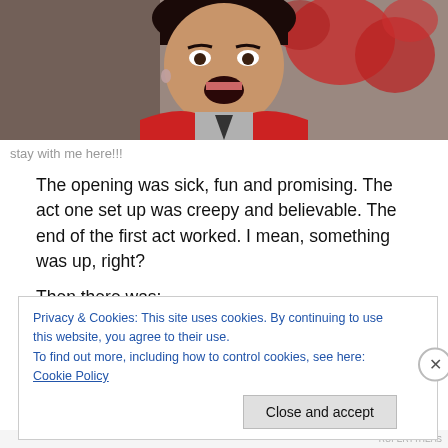[Figure (photo): A woman wearing a red vest and grey shirt, mouth open in an expression of shock or disbelief, standing in a store environment with red merchandise visible in the background.]
stay with me here!!!
The opening was sick, fun and promising. The act one set up was creepy and believable. The end of the first act worked. I mean, something was up, right?
Then there was:
Privacy & Cookies: This site uses cookies. By continuing to use this website, you agree to their use.
To find out more, including how to control cookies, see here: Cookie Policy
Close and accept